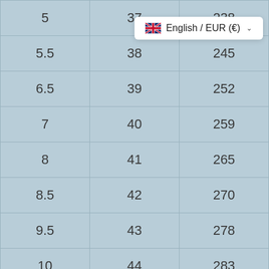| 5 | 37 | 238 |
| 5.5 | 38 | 245 |
| 6.5 | 39 | 252 |
| 7 | 40 | 259 |
| 8 | 41 | 265 |
| 8.5 | 42 | 270 |
| 9.5 | 43 | 278 |
| 10 | 44 | 283 |
| 11 | 45 | 290 |
English / EUR (€)